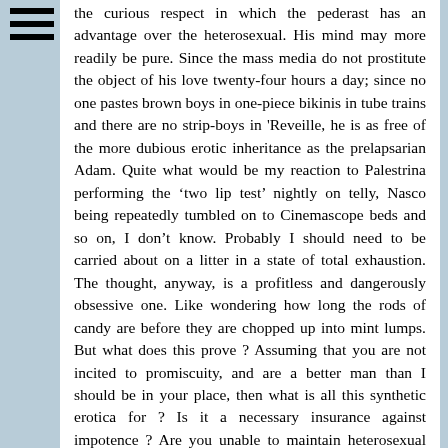the curious respect in which the pederast has an advantage over the heterosexual. His mind may more readily be pure. Since the mass media do not prostitute the object of his love twenty-four hours a day; since no one pastes brown boys in one-piece bikinis in tube trains and there are no strip-boys in 'Reveille, he is as free of the more dubious erotic inheritance as the prelapsarian Adam. Quite what would be my reaction to Palestrina performing the ‘two lip test’ nightly on telly, Nasco being repeatedly tumbled on to Cinemascope beds and so on, I don’t know. Probably I should need to be carried about on a litter in a state of total exhaustion. The thought, anyway, is a profitless and dangerously obsessive one. Like wondering how long the rods of candy are before they are chopped up into mint lumps. But what does this prove ? Assuming that you are not incited to promiscuity, and are a better man than I should be in your place, then what is all this synthetic erotica for ? Is it a necessary insurance against impotence ? Are you unable to maintain heterosexual direction without it? You are naked lovers with a licence. Your love, though, is often farther from nature than mine. I wonder, when you do find real union, as sometimes you must, doesn’t the existence of this dreary propaganda machinery